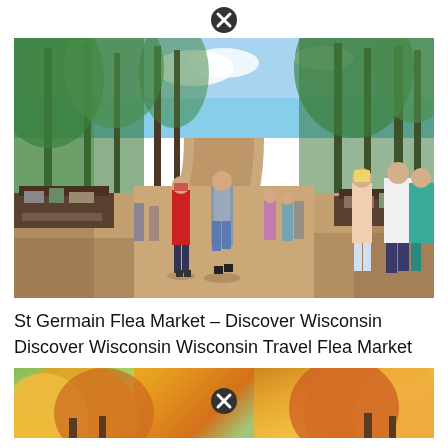[Figure (photo): Close/dismiss button icon (circled X) at top center of page]
[Figure (photo): Outdoor flea market scene at St Germain, Wisconsin. People walking along a sandy path flanked by tall pine trees on a sunny day, with vendor tables on either side displaying goods.]
St Germain Flea Market – Discover Wisconsin Discover Wisconsin Wisconsin Travel Flea Market
[Figure (photo): Close/dismiss button icon (circled X) overlaid on a partial photo of fall foliage (orange and yellow trees) at bottom of page]
[Figure (photo): Partial view of another outdoor photo at the bottom of the page showing fall foliage with orange and yellow trees on both sides]